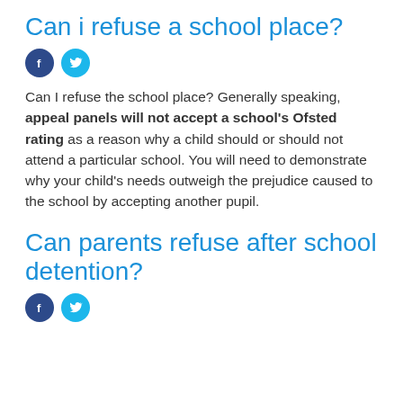Can i refuse a school place?
[Figure (other): Facebook and Twitter social share icons]
Can I refuse the school place? Generally speaking, appeal panels will not accept a school's Ofsted rating as a reason why a child should or should not attend a particular school. You will need to demonstrate why your child's needs outweigh the prejudice caused to the school by accepting another pupil.
Can parents refuse after school detention?
[Figure (other): Facebook and Twitter social share icons]